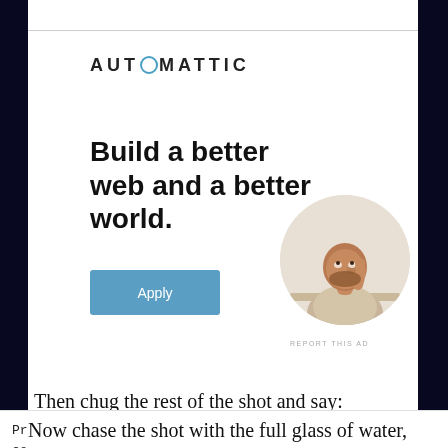[Figure (logo): Automattic company logo with circular icon replacing the 'O']
Build a better web and a better world.
[Figure (photo): Circular cropped photo of a man sitting at a desk, looking upward thoughtfully with hand near face, wearing a beige shirt]
Apply
REPORT THIS AD
Then chug the rest of the shot and say:
Privacy & Cookies: This site uses cookies. By continuing to use this website, you agree to their use.
To find out more, including how to control cookies, see here: Cookie Policy
Close and accept
Now chase the shot with the full glass of water,